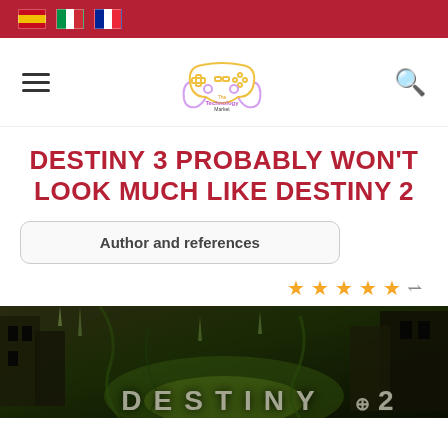[Figure (other): Top navigation bar with Spanish, Italian, and French flag icons on a dark red background]
[Figure (logo): The Technology Market website logo — outline of a game controller in yellow/purple gradient with text 'The Technology Market' below]
DESTINY 3 PROBABLY WON'T LOOK MUCH LIKE DESTINY 2
Author and references
[Figure (photo): Destiny 2 game cover art — dark, overgrown ruins with green glow, with large text 'DESTINY 2' at the bottom]